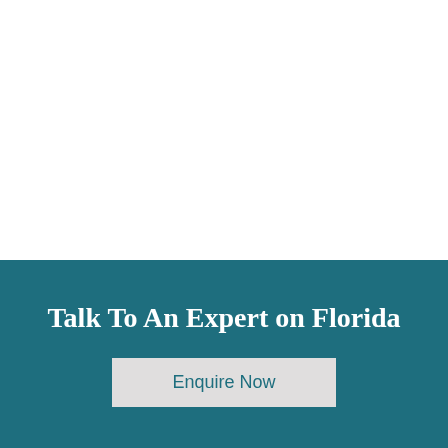Talk To An Expert on Florida
Enquire Now